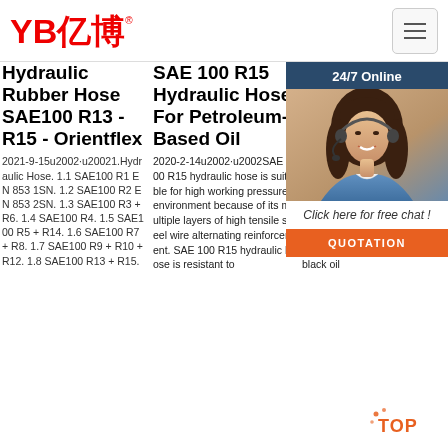YB亿博® [logo] [hamburger menu]
Hydraulic Rubber Hose SAE100 R13 - R15 - Orientflex
2021-9-15u2002·u20021.Hydraulic Hose. 1.1 SAE100 R1 EN 853 1SN. 1.2 SAE100 R2 EN 853 2SN. 1.3 SAE100 R3 + R6. 1.4 SAE100 R4. 1.5 SAE100 R5 + R14. 1.6 SAE100 R7 + R8. 1.7 SAE100 R9 + R10 + R12. 1.8 SAE100 R13 + R15.
SAE 100 R15 Hydraulic Hose For Petroleum-Based Oil
2020-2-14u2002·u2002SAE 100 R15 hydraulic hose is suitable for high working pressure environment because of its multiple layers of high tensile steel wire alternating reinforcement. SAE 100 R15 hydraulic hose is resistant to
Hydraulic Rubber Hose SAE100 R13 - Ori
Hydraulic Hose. SAE... wire... hydraulic... very... pressure... composed of three parts: tube, reinforcement and cover. The tube is made from black oil suitable for petroleum-based hydraulic oils. It is composed of three parts: tube, reinforcement and cover. The tube is made from black oil
[Figure (screenshot): 24/7 Online chat widget with photo of woman wearing headset, 'Click here for free chat!' text, and orange QUOTATION button]